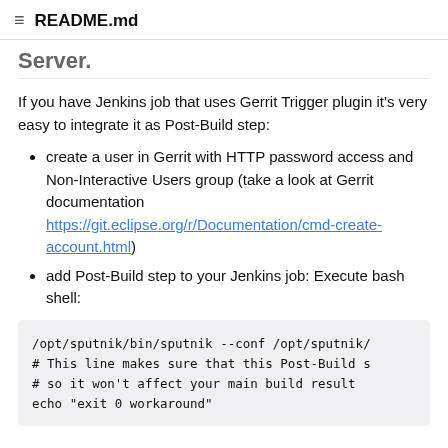README.md
Server.
If you have Jenkins job that uses Gerrit Trigger plugin it's very easy to integrate it as Post-Build step:
create a user in Gerrit with HTTP password access and Non-Interactive Users group (take a look at Gerrit documentation https://git.eclipse.org/r/Documentation/cmd-create-account.html)
add Post-Build step to your Jenkins job: Execute bash shell:
/opt/sputnik/bin/sputnik --conf /opt/sputnik/
# This line makes sure that this Post-Build s
# so it won't affect your main build result
echo "exit 0 workaround"